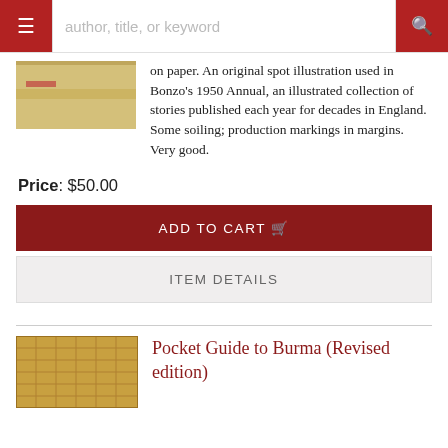author, title, or keyword
on paper. An original spot illustration used in Bonzo's 1950 Annual, an illustrated collection of stories published each year for decades in England. Some soiling; production markings in margins. Very good.
Price: $50.00
ADD TO CART
ITEM DETAILS
Pocket Guide to Burma (Revised edition)